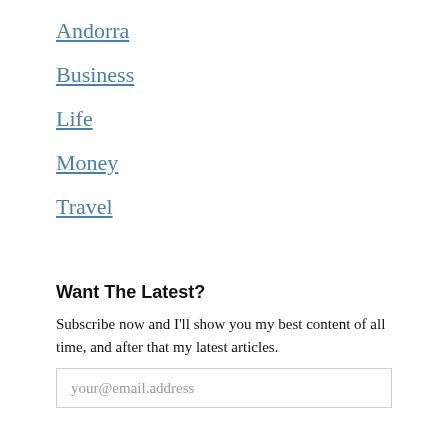Andorra
Business
Life
Money
Travel
Want The Latest?
Subscribe now and I'll show you my best content of all time, and after that my latest articles.
your@email.address